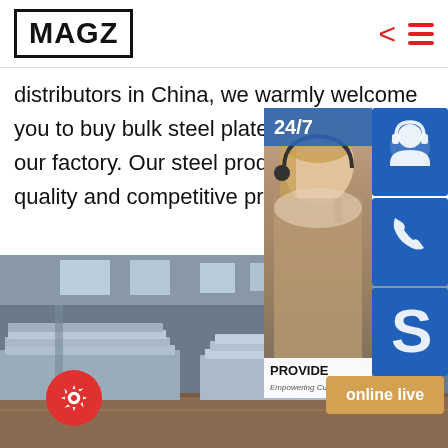MAGZ
distributors in China, we warmly welcome you to buy bulk steel plate gb/t 4171 from our factory. Our steel products are with high quality and competitive price.
[Figure (photo): Industrial warehouse interior with stacks of steel plates on the floor, large windows in background providing natural light]
[Figure (infographic): Right side overlay panel showing 24/7 customer service with female agent wearing headset, blue icon boxes with headset, phone, and Skype icons, online live chat button, and PROVIDE Empowering Customers text]